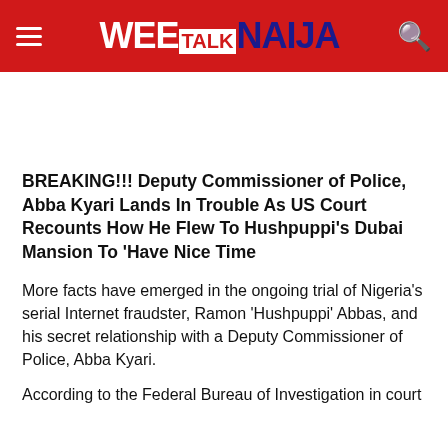WEE TALK NAIJA
BREAKING!!! Deputy Commissioner of Police, Abba Kyari Lands In Trouble As US Court Recounts How He Flew To Hushpuppi's Dubai Mansion To 'Have Nice Time
More facts have emerged in the ongoing trial of Nigeria's serial Internet fraudster, Ramon 'Hushpuppi' Abbas, and his secret relationship with a Deputy Commissioner of Police, Abba Kyari.
According to the Federal Bureau of Investigation in court